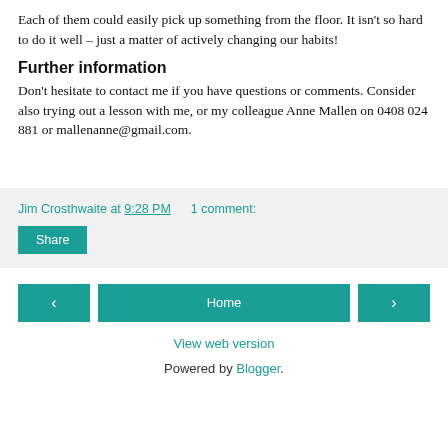Each of them could easily pick up something from the floor. It isn't so hard to do it well – just a matter of actively changing our habits!
Further information
Don't hesitate to contact me if you have questions or comments. Consider also trying out a lesson with me, or my colleague Anne Mallen on 0408 024 881 or mallenanne@gmail.com.
Jim Crosthwaite at 9:28 PM    1 comment:
Share
Home
View web version
Powered by Blogger.